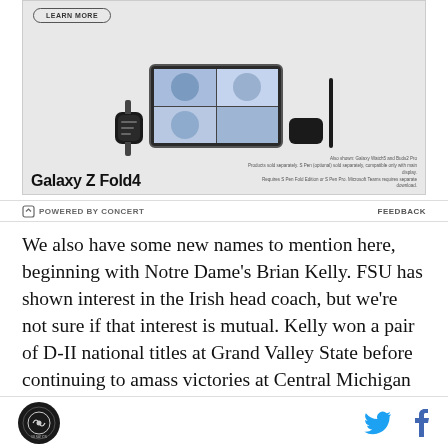[Figure (photo): Samsung Galaxy Z Fold4 advertisement showing the foldable phone alongside a Galaxy Watch5 and Buds2 Pro, with a video call displayed on the phone screen. Includes LEARN MORE button at top left. Text reads 'Galaxy Z Fold4'. Fine print: 'Also shown: Galaxy Watch5 and Buds2 Pro. Products sold separately. S Pen (optional) sold separately, compatible only with main display. Requires S Pen Fold Edition or S Pen Pro. Microsoft Teams requires separate download.']
⚡ POWERED BY CONCERT   FEEDBACK
We also have some new names to mention here, beginning with Notre Dame's Brian Kelly. FSU has shown interest in the Irish head coach, but we're not sure if that interest is mutual. Kelly won a pair of D-II national titles at Grand Valley State before continuing to amass victories at Central Michigan and then Cincinnati before heading to South Bend. Money is
[SB Nation logo] [Twitter icon] [Facebook icon]